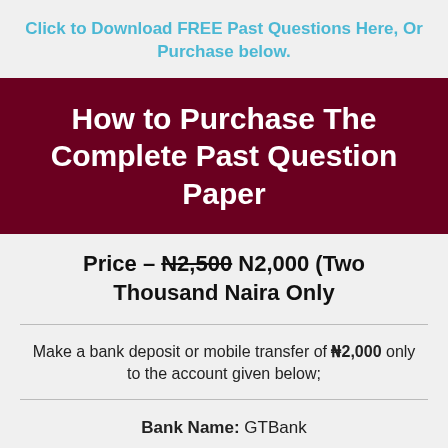Click to Download FREE Past Questions Here, Or Purchase below.
How to Purchase The Complete Past Question Paper
Price – N2,500 N2,000 (Two Thousand Naira Only
Make a bank deposit or mobile transfer of ₦2,000 only to the account given below;
Bank Name: GTBank
Account Number: 0469736442
Account Name: Emmanuel Emonike